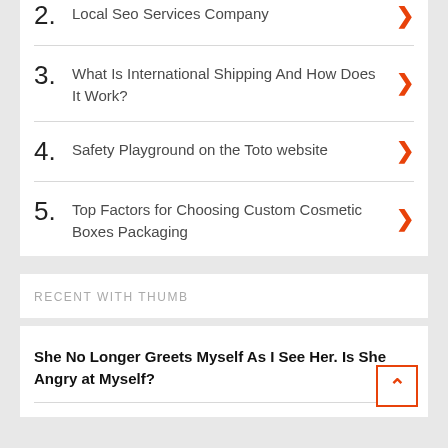2. Local Seo Services Company
3. What Is International Shipping And How Does It Work?
4. Safety Playground on the Toto website
5. Top Factors for Choosing Custom Cosmetic Boxes Packaging
RECENT WITH THUMB
She No Longer Greets Myself As I See Her. Is She Angry at Myself?